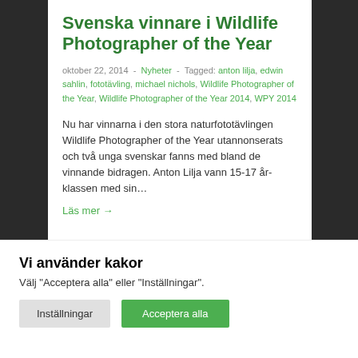Svenska vinnare i Wildlife Photographer of the Year
oktober 22, 2014  -  Nyheter  -  Tagged: anton lilja, edwin sahlin, fototävling, michael nichols, Wildlife Photographer of the Year, Wildlife Photographer of the Year 2014, WPY 2014
Nu har vinnarna i den stora naturfototävlingen Wildlife Photographer of the Year utannonserats och två unga svenskar fanns med bland de vinnande bidragen. Anton Lilja vann 15-17 år-klassen med sin…
Läs mer →
Vi använder kakor
Välj "Acceptera alla" eller "Inställningar".
Inställningar
Acceptera alla